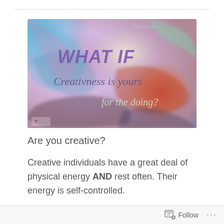[Figure (illustration): Colorful mixed-media art image with swirling blue, pink, red and orange textures. Text overlay reads: 'WHAT IF Creativness is yours for the doing?' with attribution 'Rita Poynor' in upper right. Small heart logo in bottom left.]
Are you creative?
Creative individuals have a great deal of physical energy AND rest often. Their energy is self-controlled.
Follow ...